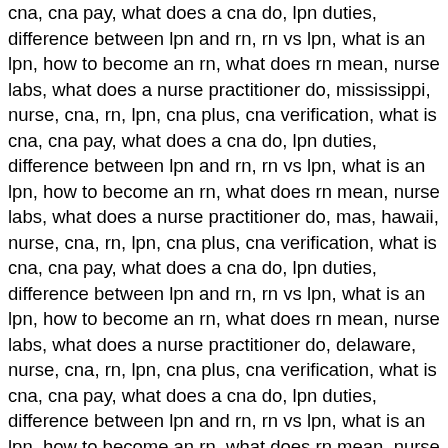cna, cna pay, what does a cna do, lpn duties, difference between lpn and rn, rn vs lpn, what is an lpn, how to become an rn, what does rn mean, nurse labs, what does a nurse practitioner do, mississippi, nurse, cna, rn, lpn, cna plus, cna verification, what is cna, cna pay, what does a cna do, lpn duties, difference between lpn and rn, rn vs lpn, what is an lpn, how to become an rn, what does rn mean, nurse labs, what does a nurse practitioner do, mas, hawaii, nurse, cna, rn, lpn, cna plus, cna verification, what is cna, cna pay, what does a cna do, lpn duties, difference between lpn and rn, rn vs lpn, what is an lpn, how to become an rn, what does rn mean, nurse labs, what does a nurse practitioner do, delaware, nurse, cna, rn, lpn, cna plus, cna verification, what is cna, cna pay, what does a cna do, lpn duties, difference between lpn and rn, rn vs lpn, what is an lpn, how to become an rn, what does rn mean, nurse labs, what does a nurse practitioner do, louisiana, nurse, cna, rn, lpn, cna plus, cna verification, what is cna, cna pay, what does a cna do, lpn duties, difference between lpn and rn, rn vs lpn, what is an lpn, how to become an rn, what does rn mean, nurse labs, what does a nurse practitioner do, oregon, nurse, cna, rn, lpn, cna plus, cna verification, what is cna, cna pay, what does a cna do, lpn duties, difference between lpn and rn, rn vs lpn, what is an lpn, how to become an rn, what does rn mean, nurse labs, what does a nurse